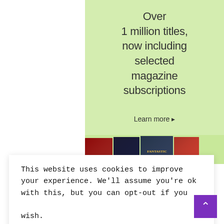[Figure (illustration): Green advertisement banner reading 'Over 1 million titles, now including selected magazine subscriptions' with 'Learn more ▸' link and book covers at the bottom including Fantastic Beasts and other titles]
This website uses cookies to improve your experience. We'll assume you're ok with this, but you can opt-out if you wish.    Cookie settings    accept